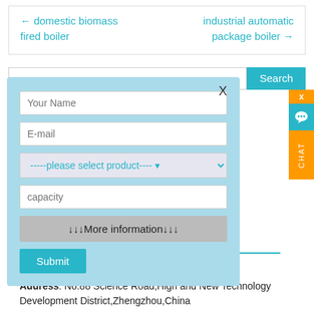← domestic biomass fired boiler
industrial automatic package boiler →
[Figure (screenshot): Search bar with text input and Search button]
[Figure (screenshot): Contact form modal with fields: Your Name, E-mail, product select dropdown, capacity, More information bar, and Submit button]
[Figure (screenshot): Orange chat widget on right side with X close button and CHAT label]
E-mail: info@zzboiler.com
Address: No.88 Science Road,High and New Technology Development District,Zhengzhou,China